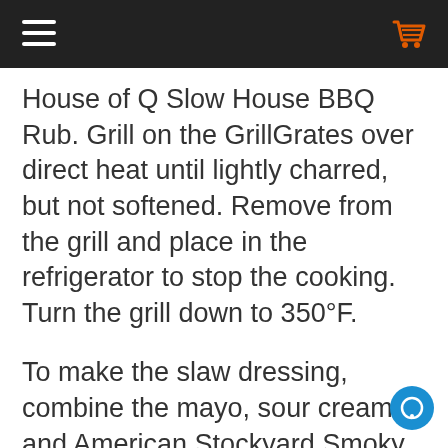[navigation bar with hamburger menu and cart icon]
House of Q Slow House BBQ Rub. Grill on the GrillGrates over direct heat until lightly charred, but not softened. Remove from the grill and place in the refrigerator to stop the cooking. Turn the grill down to 350°F.
To make the slaw dressing, combine the mayo, sour cream and American Stockyard Smoky Mustard. Whisk together, taste and season with salt and pepper to taste.